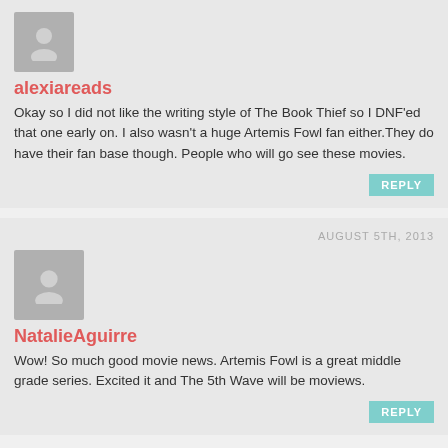[Figure (illustration): Default avatar icon - grey silhouette of a person]
alexiareads
Okay so I did not like the writing style of The Book Thief so I DNF'ed that one early on. I also wasn't a huge Artemis Fowl fan either.They do have their fan base though. People who will go see these movies.
REPLY
AUGUST 5TH, 2013
[Figure (illustration): Default avatar icon - grey silhouette of a person]
NatalieAguirre
Wow! So much good movie news. Artemis Fowl is a great middle grade series. Excited it and The 5th Wave will be moviews.
REPLY